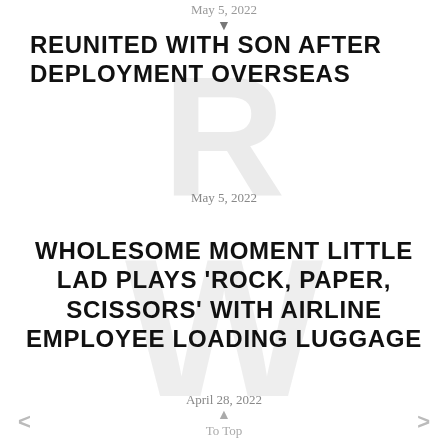May 5, 2022 ▼
REUNITED WITH SON AFTER DEPLOYMENT OVERSEAS
May 5, 2022
WHOLESOME MOMENT LITTLE LAD PLAYS 'ROCK, PAPER, SCISSORS' WITH AIRLINE EMPLOYEE LOADING LUGGAGE
April 28, 2022
< ▲ To Top >